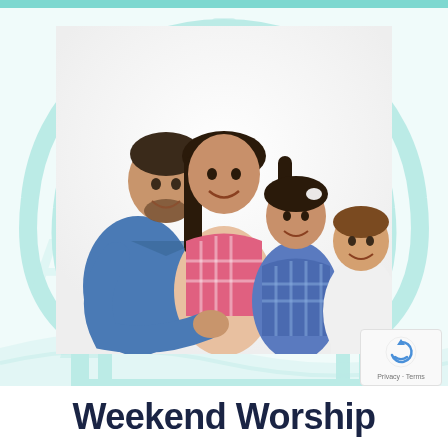[Figure (photo): A happy family of four - a man, a woman, a girl, and a boy - smiling and hugging together, photographed against a white background with a teal church watermark logo behind them]
Weekend Worship